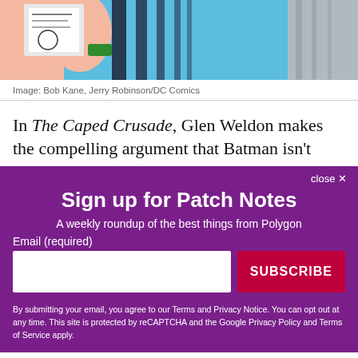[Figure (illustration): Comic book art showing Batman character in blue and black costume, holding something, with peach/skin-toned background at top]
Image: Bob Kane, Jerry Robinson/DC Comics
In The Caped Crusade, Glen Weldon makes the compelling argument that Batman isn't really Batman
close ✕
Sign up for Patch Notes
A weekly roundup of the best things from Polygon
Email (required)
SUBSCRIBE
By submitting your email, you agree to our Terms and Privacy Notice. You can opt out at any time. This site is protected by reCAPTCHA and the Google Privacy Policy and Terms of Service apply.